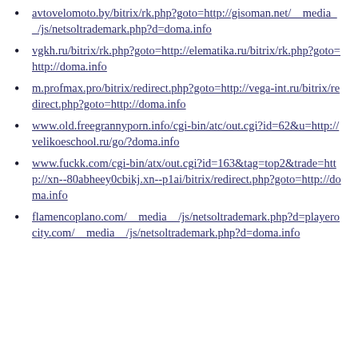avtovelomoto.by/bitrix/rk.php?goto=http://gisoman.net/__media__/js/netsoltrademark.php?d=doma.info
vgkh.ru/bitrix/rk.php?goto=http://elematika.ru/bitrix/rk.php?goto=http://doma.info
m.profmax.pro/bitrix/redirect.php?goto=http://vega-int.ru/bitrix/redirect.php?goto=http://doma.info
www.old.freegrannyporn.info/cgi-bin/atc/out.cgi?id=62&u=http://velikoeschool.ru/go/?doma.info
www.fuckk.com/cgi-bin/atx/out.cgi?id=163&tag=top2&trade=http://xn--80abheey0cbikj.xn--p1ai/bitrix/redirect.php?goto=http://doma.info
flamencoplano.com/__media__/js/netsoltrademark.php?d=playerocity.com/__media__/js/netsoltrademark.php?d=doma.info